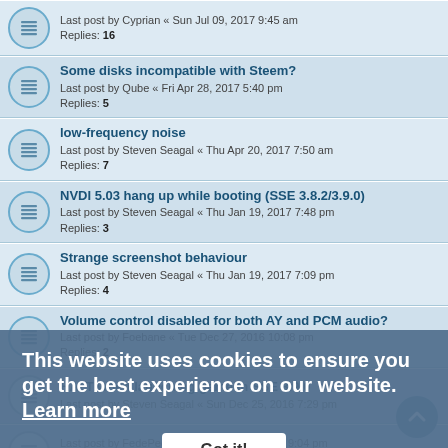Last post by Cyprian « Sun Jul 09, 2017 9:45 am
Replies: 16
Some disks incompatible with Steem?
Last post by Qube « Fri Apr 28, 2017 5:40 pm
Replies: 5
low-frequency noise
Last post by Steven Seagal « Thu Apr 20, 2017 7:50 am
Replies: 7
NVDI 5.03 hang up while booting (SSE 3.8.2/3.9.0)
Last post by Steven Seagal « Thu Jan 19, 2017 7:48 pm
Replies: 3
Strange screenshot behaviour
Last post by Steven Seagal « Thu Jan 19, 2017 7:09 pm
Replies: 4
Volume control disabled for both AY and PCM audio?
Last post by Foebane « Tue Dec 27, 2016 10:08 pm
Replies: 2
HALT when launching game in SSE 3.9.0
Last post by Steven Seagal « Sun Dec 25, 2016 7:29 pm
Last post by FedePede04 « Thu Dec 08, 2016 9:04 pm
Replies: 13
Steem.SSE.3.8.2.Win64. and Windows 7
Last post by Steven Seagal « Sun Nov 27, 2016 9:41 am
Replies: 1
ACSI Drive
Last post by Steven Seagal « ...
This website uses cookies to ensure you get the best experience on our website. Learn more
Got it!